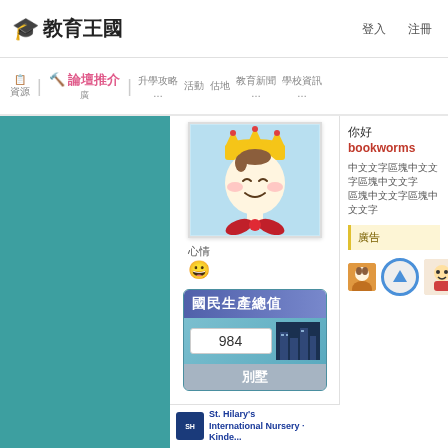🎓 教育王國
登入   注冊
📋 資源  |  🔨 論壇推介  |  升學攻略  |  活動  |  估地  |  教育新聞  |  學校資訊
[Figure (illustration): Cartoon child character wearing a golden crown and red bow, on light blue background — user avatar]
心情
😀
[Figure (infographic): GDP widget showing 國民生產總值 (GNP) value of 984, with building graphic and label 別墅]
你好 bookworms
中文文字區塊
廣告
bookw...
St. Hilary's International Nursery · Kinde...